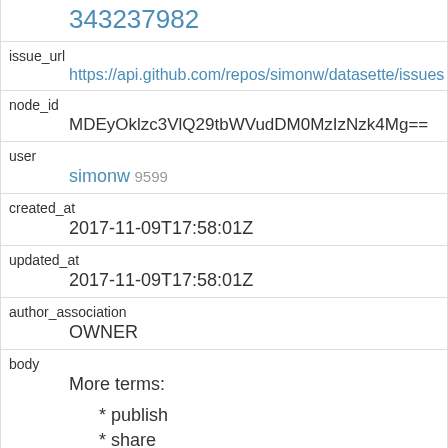343237982
issue_url
https://api.github.com/repos/simonw/datasette/issues
node_id
MDEyOklzc3VlQ29tbWVudDM0MzIzNzk4Mg==
user
simonw 9599
created_at
2017-11-09T17:58:01Z
updated_at
2017-11-09T17:58:01Z
author_association
OWNER
body
More terms:
* publish
* share
* docker
* host